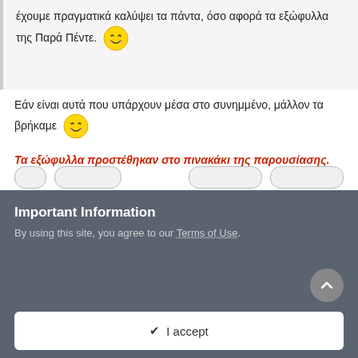έχουμε πραγματικά καλύψει τα πάντα, όσο αφορά τα εξώφυλλα της Παρά Πέντε. 😊
Εάν είναι αυτά που υπάρχουν μέσα στο συνημμένο, μάλλον τα βρήκαμε 😊
Τα εξώφυλλα προστέθηκαν στο πινακάκι της παρουσίασης.
Important Information
By using this site, you agree to our Terms of Use.
✔ I accept